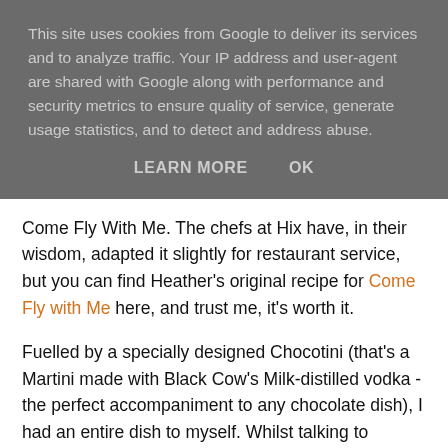This site uses cookies from Google to deliver its services and to analyze traffic. Your IP address and user-agent are shared with Google along with performance and security metrics to ensure quality of service, generate usage statistics, and to detect and address abuse.
LEARN MORE   OK
Come Fly With Me. The chefs at Hix have, in their wisdom, adapted it slightly for restaurant service, but you can find Heather's original recipe for Come Fly with Me here, and trust me, it's worth it.
Fuelled by a specially designed Chocotini (that's a Martini made with Black Cow's Milk-distilled vodka - the perfect accompaniment to any chocolate dish), I had an entire dish to myself. Whilst talking to Heather and the PR people, I do believe I zoned out, savouring every single mouthful of milk chocolate mousse, surrounded by chocolate and raspberry meringues and infused with rose cream and fresh raspberries to perfectly balance out the sweetness. Pure heaven. Hix Heaven. Indeed I did feel as though I could